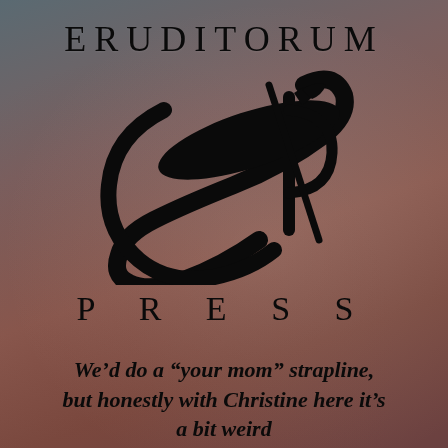ERUDITORUM
[Figure (logo): Eruditorum Press logo — stylized cursive 'EP' monogram in black with sweeping calligraphic strokes]
PRESS
We’d do a “your mom” strapline, but honestly with Christine here it’s a bit weird